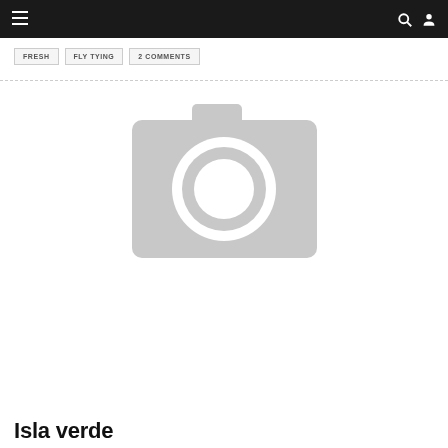≡  🔍  👤
FRESH
FLY TYING
2 COMMENTS
[Figure (photo): Placeholder camera icon image — grey camera silhouette on white background indicating missing or not-yet-loaded image]
Isla verde